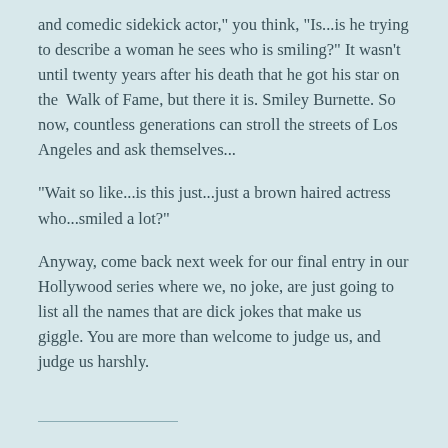and comedic sidekick actor," you think, "Is...is he trying to describe a woman he sees who is smiling?" It wasn't until twenty years after his death that he got his star on the Walk of Fame, but there it is. Smiley Burnette. So now, countless generations can stroll the streets of Los Angeles and ask themselves...
"Wait so like...is this just...just a brown haired actress who...smiled a lot?"
Anyway, come back next week for our final entry in our Hollywood series where we, no joke, are just going to list all the names that are dick jokes that make us giggle. You are more than welcome to judge us, and judge us harshly.